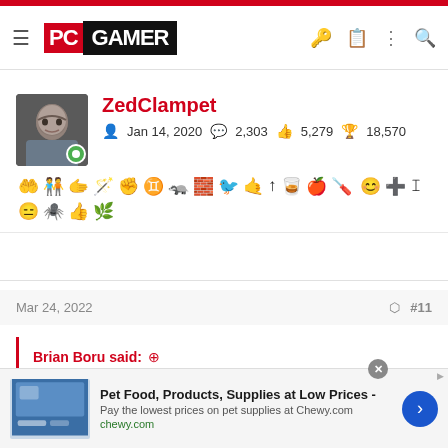PC GAMER
ZedClampet
Jan 14, 2020  2,303  5,279  18,570
[Figure (other): User achievement badges row 1 and row 2]
Mar 24, 2022  #11
Brian Boru said: ↑

Letterle
[Figure (other): Pet Food, Products, Supplies at Low Prices - Chewy.com advertisement banner]